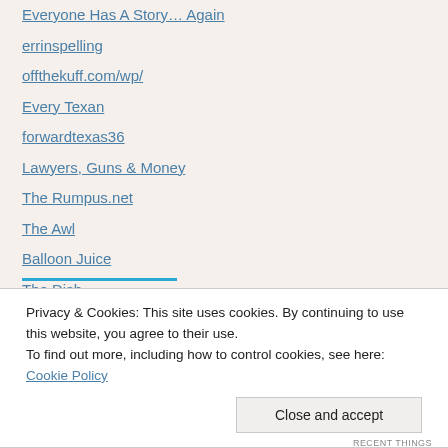Everyone Has A Story… Again
errinspelling
offthekuff.com/wp/
Every Texan
forwardtexas36
Lawyers, Guns & Money
The Rumpus.net
The Awl
Balloon Juice
The Dish
Privacy & Cookies: This site uses cookies. By continuing to use this website, you agree to their use. To find out more, including how to control cookies, see here: Cookie Policy
Close and accept
RECENT THINGS